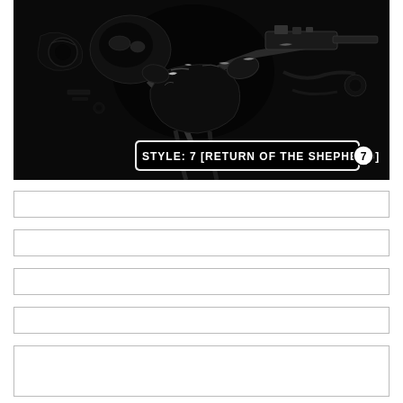[Figure (illustration): Dark, high-contrast black and white illustration of a robotic or armored figure holding mechanical equipment, with text overlay reading 'STYLE: 7 (RETURN OF THE SHEPHERD) 7' in a bold stylized font with a circled 7 icon]